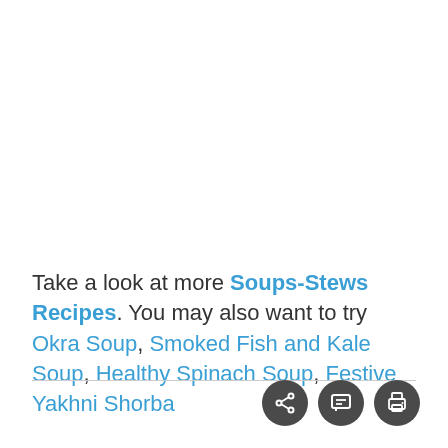Take a look at more Soups-Stews Recipes. You may also want to try Okra Soup, Smoked Fish and Kale Soup, Healthy Spinach Soup, Festive Yakhni Shorba
[Figure (other): Three dark circular icon buttons: share, comment, and print]